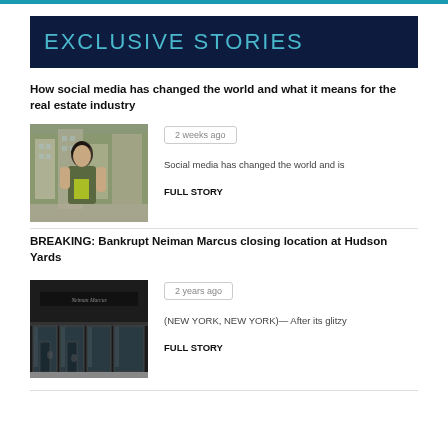EXCLUSIVE STORIES
How social media has changed the world and what it means for the real estate industry
[Figure (photo): Photo of a young woman in a city street with buildings behind her]
2 weeks ago
Social media has changed the world and is
FULL STORY
BREAKING: Bankrupt Neiman Marcus closing location at Hudson Yards
[Figure (photo): Photo of Neiman Marcus store exterior with large glass windows]
2 years ago
(NEW YORK, NEW YORK)— After its glitzy
FULL STORY